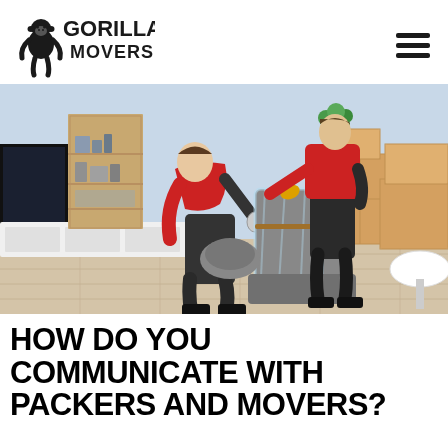[Figure (logo): Gorilla Movers logo with gorilla icon and text GORILLA MOVERS]
[Figure (photo): Two movers in red shirts and black pants wrapping furniture with plastic wrap and moving blankets in a living room with cardboard boxes]
HOW DO YOU COMMUNICATE WITH PACKERS AND MOVERS?